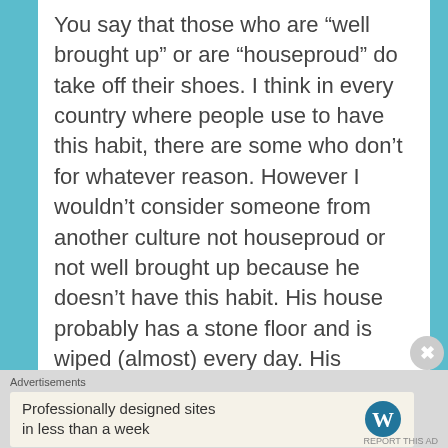You say that those who are “well brought up” or are “houseproud” do take off their shoes. I think in every country where people use to have this habit, there are some who don’t for whatever reason. However I wouldn’t consider someone from another culture not houseproud or not well brought up because he doesn’t have this habit. His house probably has a stone floor and is wiped (almost) every day. His children probably never sit on the floor.
And may it be that “nobody made a fuss” back then (in the 60/70) because they
Advertisements
Professionally designed sites in less than a week